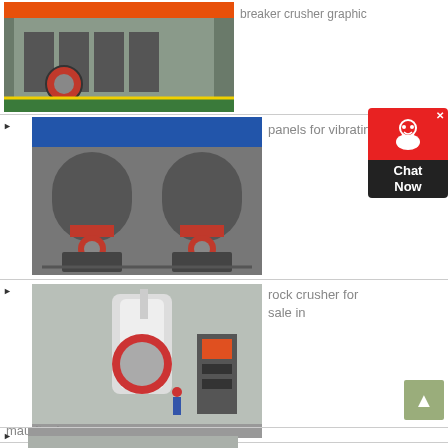[Figure (photo): Industrial breaker crusher machine in a factory setting]
breaker crusher graphic
[Figure (photo): Multiple large industrial cone crusher machines in a manufacturing facility]
panels for vibrating screen
[Figure (photo): Large industrial rock crusher/grinding mill machine in a factory with a worker visible]
rock crusher for sale in mauritania
[Figure (photo): Industrial machinery partially visible at bottom of page]